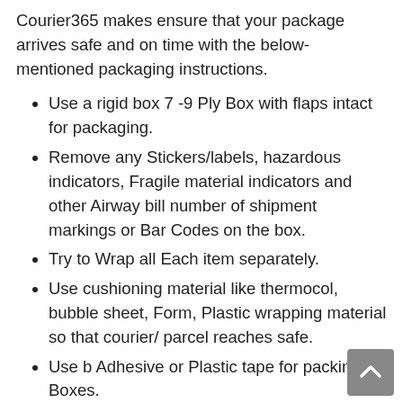Courier365 makes ensure that your package arrives safe and on time with the below-mentioned packaging instructions.
Use a rigid box 7 -9 Ply Box with flaps intact for packaging.
Remove any Stickers/labels, hazardous indicators, Fragile material indicators and other Airway bill number of shipment markings or Bar Codes on the box.
Try to Wrap all Each item separately.
Use cushioning material like thermocol, bubble sheet, Form, Plastic wrapping material so that courier/ parcel reaches safe.
Use b Adhesive or Plastic tape for packing of Boxes.
Do not use string, Bubble sheet, Stitched cloth or paper over-wrap.
Address label should be clear, complete delivery